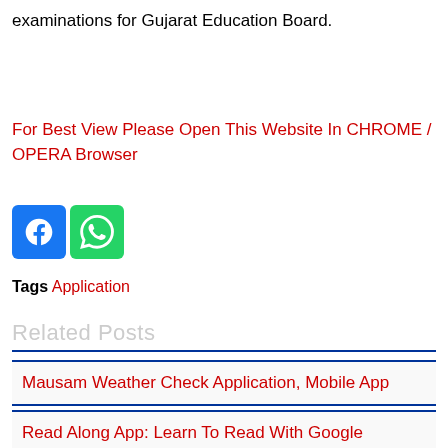examinations for Gujarat Education Board.
For Best View Please Open This Website In CHROME / OPERA Browser
[Figure (infographic): Facebook and WhatsApp social sharing icon buttons side by side]
Tags Application
Related Posts
Mausam Weather Check Application, Mobile App
Read Along App: Learn To Read With Google
Speaker Cleaner: Remove Water, Dust & Boost Sound APK